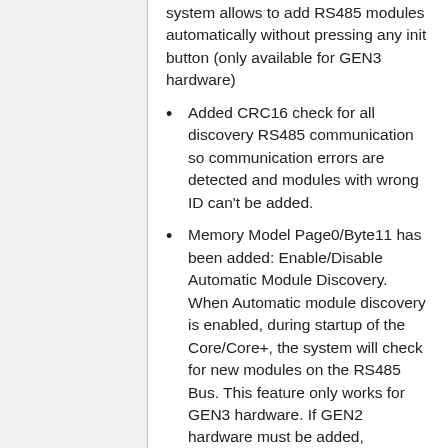system allows to add RS485 modules automatically without pressing any init button (only available for GEN3 hardware)
Added CRC16 check for all discovery RS485 communication so communication errors are detected and modules with wrong ID can't be added.
Memory Model Page0/Byte11 has been added: Enable/Disable Automatic Module Discovery. When Automatic module discovery is enabled, during startup of the Core/Core+, the system will check for new modules on the RS485 Bus. This feature only works for GEN3 hardware. If GEN2 hardware must be added, Automatic Module Discovery must be